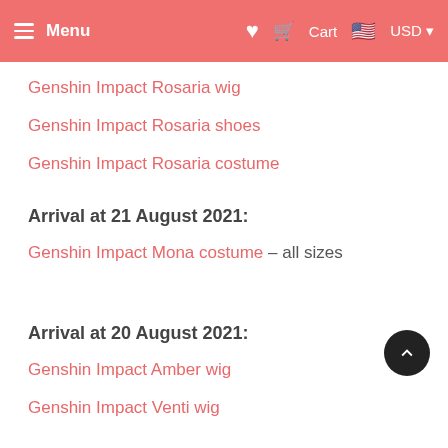Menu  ♥  Cart  USD
Genshin Impact Rosaria wig
Genshin Impact Rosaria shoes
Genshin Impact Rosaria costume
Arrival at 21 August 2021:
Genshin Impact Mona costume – all sizes
Arrival at 20 August 2021:
Genshin Impact Amber wig
Genshin Impact Venti wig